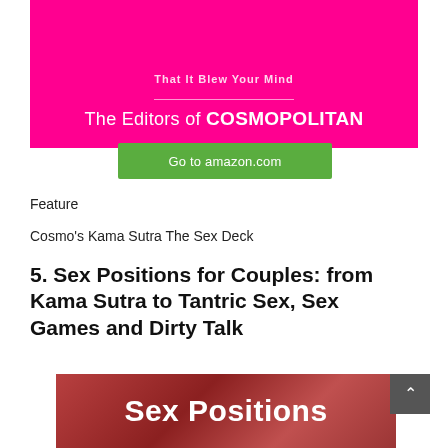[Figure (other): Pink Cosmopolitan book cover banner showing author credit 'The Editors of COSMOPOLITAN' with a decorative divider line on a hot pink background]
Go to amazon.com
Feature
Cosmo's Kama Sutra The Sex Deck
5. Sex Positions for Couples: from Kama Sutra to Tantric Sex, Sex Games and Dirty Talk
[Figure (photo): Red/maroon book cover with white text reading 'Sex Positions']